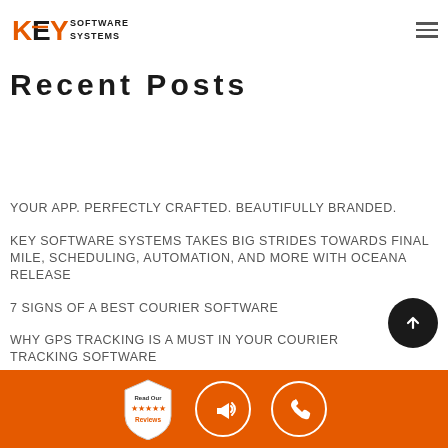KEY SOFTWARE SYSTEMS
Recent Posts
YOUR APP. PERFECTLY CRAFTED. BEAUTIFULLY BRANDED.
KEY SOFTWARE SYSTEMS TAKES BIG STRIDES TOWARDS FINAL MILE, SCHEDULING, AUTOMATION, AND MORE WITH OCEANA RELEASE
7 SIGNS OF A BEST COURIER SOFTWARE
WHY GPS TRACKING IS A MUST IN YOUR COURIER TRACKING SOFTWARE
TOP TRENDS TO LOOK OUT FOR IN LAST MILE DELIVERY
[Figure (infographic): Orange footer bar with review badge, megaphone icon, and phone icon]